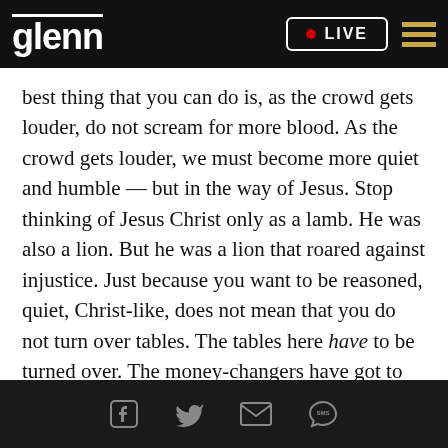glenn • LIVE
best thing that you can do is, as the crowd gets louder, do not scream for more blood. As the crowd gets louder, we must become more quiet and humble — but in the way of Jesus. Stop thinking of Jesus Christ only as a lamb. He was also a lion. But he was a lion that roared against injustice. Just because you want to be reasoned, quiet, Christ-like, does not mean that you do not turn over tables. The tables here have to be turned over. The money-changers have got to be chased out of our republic's temple in Washington, D.C., and I am all for that.
[social icons: Facebook, Twitter, Email, SMS]